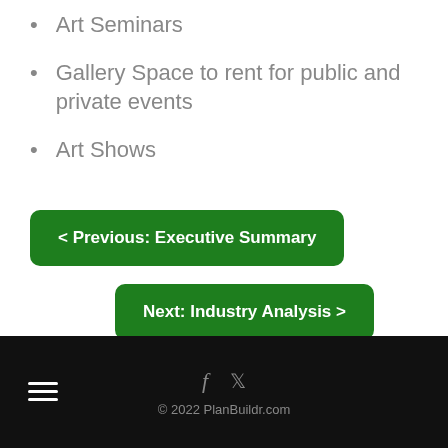Art Seminars
Gallery Space to rent for public and private events
Art Shows
< Previous: Executive Summary
Next: Industry Analysis >
© 2022 PlanBuildr.com